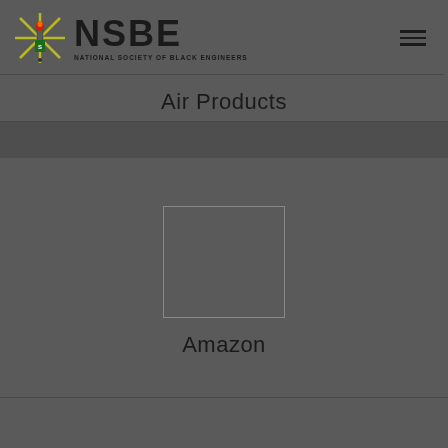NSBE - NATIONAL SOCIETY OF BLACK ENGINEERS
Air Products
[Figure (logo): Empty company logo placeholder box with border]
Amazon